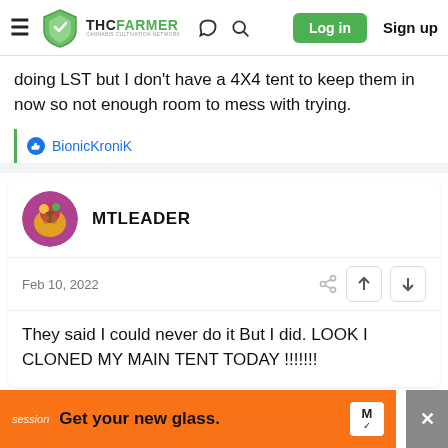THC FARMER - Cannabis Cultivation Network - Log in - Sign up
doing LST but I don't have a 4X4 tent to keep them in now so not enough room to mess with trying.
BionicKronik
MTLEADER
Feb 10, 2022
They said I could never do it But I did. LOOK I CLONED MY MAIN TENT TODAY !!!!!!!
session  Get your new glass.